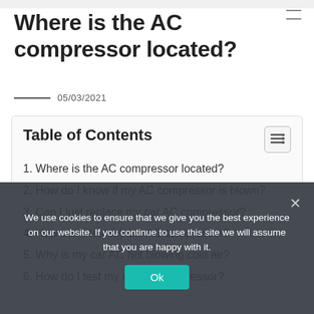Where is the AC compressor located?
05/03/2021
Table of Contents
1. Where is the AC compressor located?
2. How do I know if my AC compressor is blown?
3. Can I just replace my car AC compressor?
4. How can I test my car AC compressor?
5. Why is my car AC not blowing cold air?
6. How do I test my car AC compressor?
We use cookies to ensure that we give you the best experience on our website. If you continue to use this site we will assume that you are happy with it.